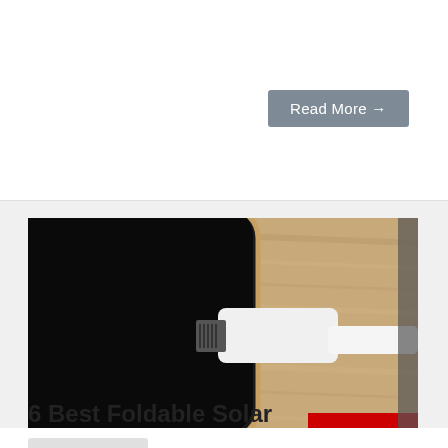Read More →
[Figure (photo): Close-up photo of a lightning cable being plugged into an iPhone on a wooden surface]
Buyer's Guides
6 Best Foldable Solar